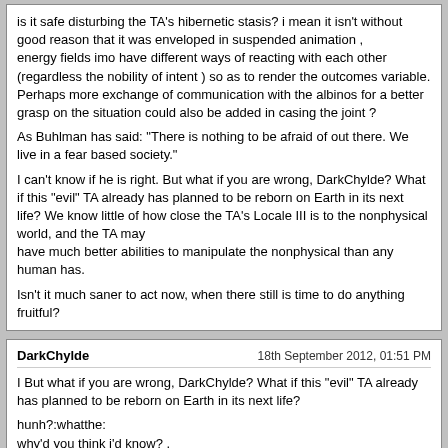is it safe disturbing the TA's hibernetic stasis? i mean it isn't without good reason that it was enveloped in suspended animation , energy fields imo have different ways of reacting with each other (regardless the nobility of intent ) so as to render the outcomes variable. Perhaps more exchange of communication with the albinos for a better grasp on the situation could also be added in casing the joint ?

As Buhlman has said: "There is nothing to be afraid of out there. We live in a fear based society."

I can't know if he is right. But what if you are wrong, DarkChylde? What if this "evil" TA already has planned to be reborn on Earth in its next life? We know little of how close the TA's Locale III is to the nonphysical world, and the TA may have much better abilities to manipulate the nonphysical than any human has.

Isn't it much saner to act now, when there still is time to do anything fruitful?
DarkChylde
18th September 2012, 01:51 PM

I But what if you are wrong, DarkChylde? What if this "evil" TA already has planned to be reborn on Earth in its next life?

hunh?:whatthe:
why'd you think i'd know? .
IA56
18th September 2012, 04:50 PM

What happens to those parts what is lost forever??

Or...

To me without those parts??